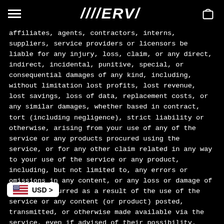////ERV/ [navigation header with hamburger menu and cart icon]
affiliates, agents, contractors, interns, suppliers, service providers or licensors be liable for any injury, loss, claim, or any direct, indirect, incidental, punitive, special, or consequential damages of any kind, including, without limitation lost profits, lost revenue, lost savings, loss of data, replacement costs, or any similar damages, whether based in contract, tort (including negligence), strict liability or otherwise, arising from your use of any of the service or any products procured using the service, or for any other claim related in any way to your use of the service or any product, including, but not limited to, any errors or omissions in any content, or any loss or damage of any kind incurred as a result of the use of the service or any content (or product) posted, transmitted, or otherwise made available via the service, even if advised of their possibility. Because some states or jurisdictions do not allow the exclusion or limitation of liability for consequential or incidental damages, in such states or jurisdictions, our liability